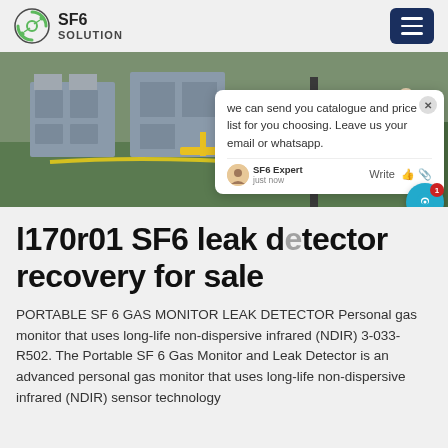SF6 SOLUTION
[Figure (photo): Outdoor SF6 gas equipment installation with large grey industrial units on green grass, yellow safety barriers visible. A chat popup overlay is present on the right side of the image reading: 'we can send you catalogue and price list for you choosing. Leave us your email or whatsapp.' with SF6 Expert agent shown as 'just now'.]
l170r01 SF6 leak detector recovery for sale
PORTABLE SF 6 GAS MONITOR LEAK DETECTOR Personal gas monitor that uses long-life non-dispersive infrared (NDIR) 3-033-R502. The Portable SF 6 Gas Monitor and Leak Detector is an advanced personal gas monitor that uses long-life non-dispersive infrared (NDIR) sensor technology